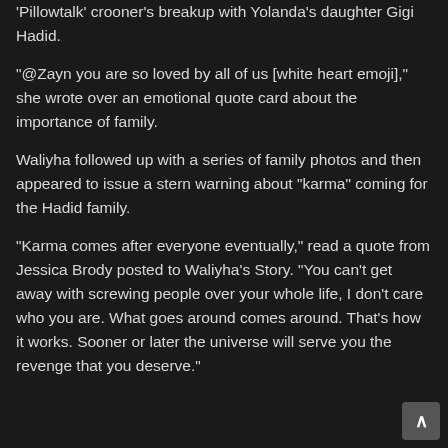'Pillowtalk' crooner's breakup with Yolanda's daughter Gigi Hadid.
"@Zayn you are so loved by all of us [white heart emoji]," she wrote over an emotional quote card about the importance of family.
Waliyha followed up with a series of family photos and then appeared to issue a stern warning about “karm” coming for the Hadid family.
“Karma comes after everyone eventually,” read a quote from Jessica Brody posted to Waliyha’s Story. “You can’t get away with screwing people over your whole life, I don’t care who you are. What goes around comes around. That’s how it works. Sooner or later the universe will serve you the revenge that you deserve.”